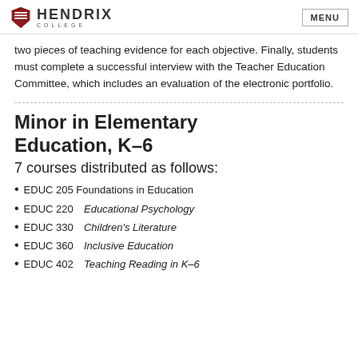Hendrix College — MENU
two pieces of teaching evidence for each objective. Finally, students must complete a successful interview with the Teacher Education Committee, which includes an evaluation of the electronic portfolio.
Minor in Elementary Education, K–6
7 courses distributed as follows:
EDUC 205 Foundations in Education
EDUC 220 Educational Psychology
EDUC 330 Children's Literature
EDUC 360 Inclusive Education
EDUC 402 Teaching Reading in K–6